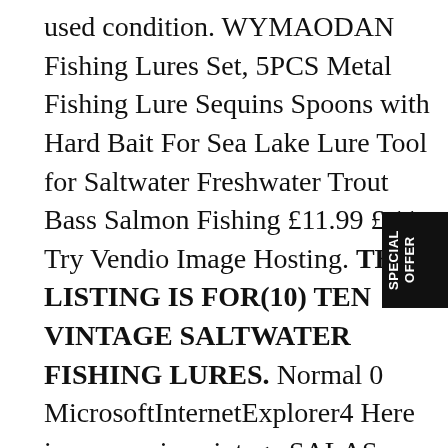used condition. WYMAODAN Fishing Lures Set, 5PCS Metal Fishing Lure Sequins Spoons with Hard Bait For Sea Lake Lure Tool for Saltwater Freshwater Trout Bass Salmon Fishing £11.99 £ 11 . Try Vendio Image Hosting. THIS LISTING IS FOR(10) TEN VINTAGE SALTWATER FISHING LURES. Normal 0 MicrosoftInternetExplorer4 Here is a very nice vintage SALAS PDQ approximately 8¼″ long and weighing 1 lb 1 oz or 480 grams. Good Luck! INTERNATIONAL SHIPPING IS NOT AVAILABLE FOR THIS ITEM.
[Figure (other): Black badge/label with white text reading SPECIAL OFFER, rotated 90 degrees, positioned at right edge]